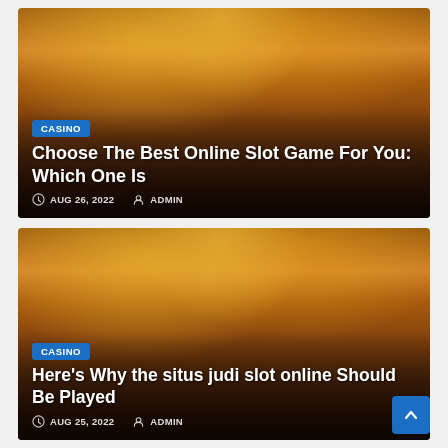[Figure (photo): Casino interior with slot machines and warm golden lighting. Blue CASINO badge overlaid. Title: 'Choose The Best Online Slot Game For You: Which One Is'. Date: AUG 26, 2022. Author: ADMIN.]
[Figure (photo): Casino interior with slot machines and warm golden lighting. Blue CASINO badge overlaid. Title: 'Here's Why the situs judi slot online Should Be Played'. Date: AUG 25, 2022. Author: ADMIN.]